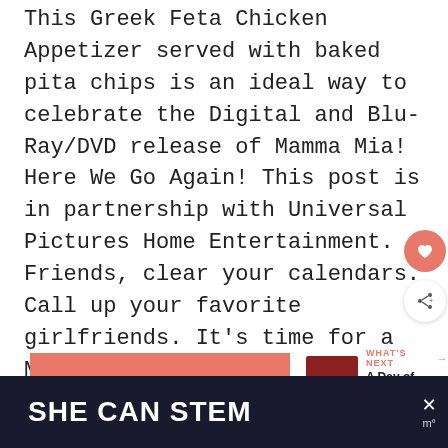This Greek Feta Chicken Appetizer served with baked pita chips is an ideal way to celebrate the Digital and Blu-Ray/DVD release of Mamma Mia! Here We Go Again! This post is in partnership with Universal Pictures Home Entertainment.   Friends, clear your calendars. Call up your favorite girlfriends. It's time for a Mamma Mia! Movie...
READ MORE
WHAT'S NEXT → A Day of Social Media...
SHE CAN STEM